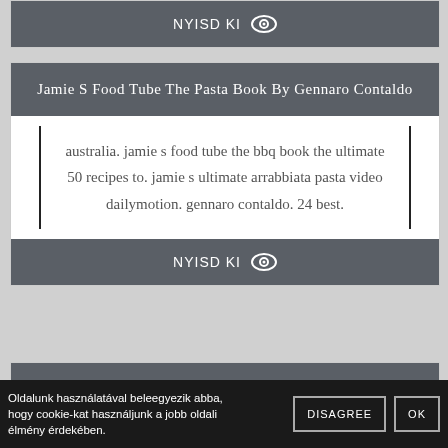[Figure (screenshot): Partial top card with NYISD KI button and eye icon]
Jamie S Food Tube The Pasta Book By Gennaro Contaldo
australia. jamie s food tube the bbq book the ultimate 50 recipes to. jamie s ultimate arrabbiata pasta video dailymotion. gennaro contaldo. 24 best.
NYISD KI
The Quest For The Pro Tour English Edition By Jamie ... - Page List
Oldalunk használatával beleegyezik abba, hogy cookie-kat használjunk a jobb oldali élmény érdekében.